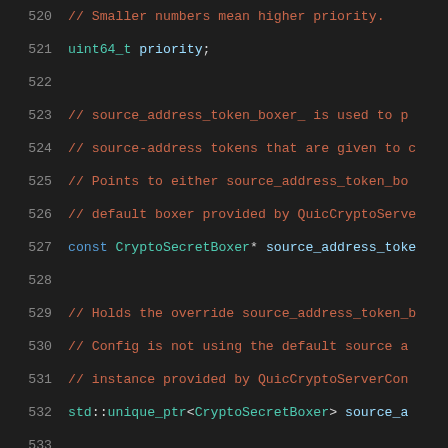520  // Smaller numbers mean higher priority.
521  uint64_t priority;
522
523  // source_address_token_boxer_ is used to p
524  // source-address tokens that are given to c
525  // Points to either source_address_token_bo
526  // default boxer provided by QuicCryptoServ
527  const CryptoSecretBoxer* source_address_tok
528
529  // Holds the override source_address_token_b
530  // Config is not using the default source a
531  // instance provided by QuicCryptoServerCon
532  std::unique_ptr<CryptoSecretBoxer> source_a
533
534  private:
535   ~Config() override;
536  };
537
538  using ConfigMap =
539       std::map<ServerConfigID, QuicReferenceCou
540